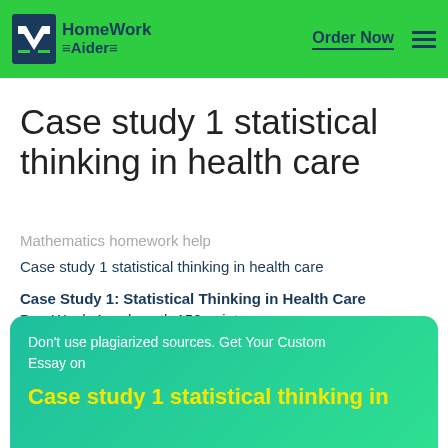HomeWork Aider — Order Now
Case study 1 statistical thinking in health care
Mathematics homework help
Case study 1 statistical thinking in health care
Case Study 1: Statistical Thinking in Health Care
Due Week 4 and worth 150 points
Don't use plagiarized sources. Get Your Custom Essay on
Case study 1 statistical thinking in